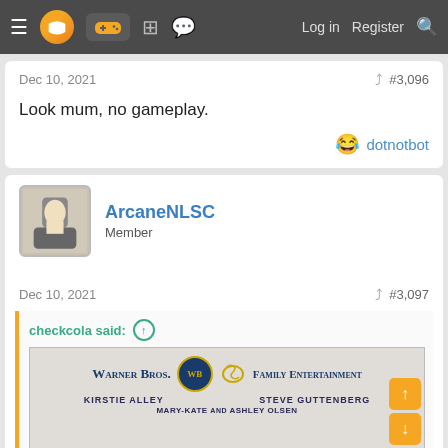Navigation bar with menu, logo, gamepad icon, grid icon, chat icon, Log in, Register, Search
Dec 10, 2021  #3,096
Look mum, no gameplay.
😂 dotnotbot
ArcaneNLSC
Member
Dec 10, 2021  #3,097
checkcola said: ↑
[Figure (photo): Warner Bros. Family Entertainment movie poster showing Kirstie Alley, Steve Guttenberg, Mary-Kate and Ashley Olsen]